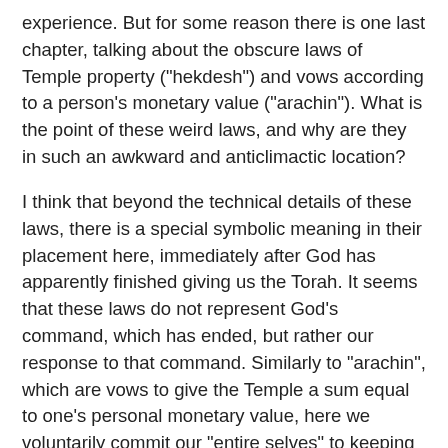experience. But for some reason there is one last chapter, talking about the obscure laws of Temple property ("hekdesh") and vows according to a person's monetary value ("arachin"). What is the point of these weird laws, and why are they in such an awkward and anticlimactic location?
I think that beyond the technical details of these laws, there is a special symbolic meaning in their placement here, immediately after God has apparently finished giving us the Torah. It seems that these laws do not represent God's command, which has ended, but rather our response to that command. Similarly to "arachin", which are vows to give the Temple a sum equal to one's personal monetary value, here we voluntarily commit our "entire selves" to keeping the Torah whose presentation has just finished. And as with Temple property ("hekdesh") which cannot be put to any non-Temple use, having committed ourselves to a holy lifestyle, we recognize that the commitment is permanent and we can never back out.
The connection between these particular laws and the overall commitment you are making is not explicit, but if you